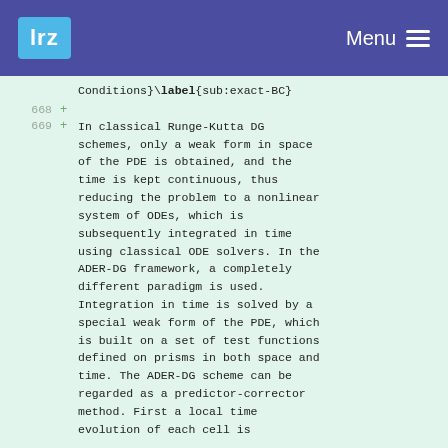lrz  Menu
Conditions}\label{sub:exact-BC}
In classical Runge-Kutta DG schemes, only a weak form in space of the PDE is obtained, and the time is kept continuous, thus reducing the problem to a nonlinear system of ODEs, which is subsequently integrated in time using classical ODE solvers. In the ADER-DG framework, a completely different paradigm is used. Integration in time is solved by a special weak form of the PDE, which is built on a set of test functions defined on prisms in both space and time. The ADER-DG scheme can be regarded as a predictor-corrector method. First a local time evolution of each cell is